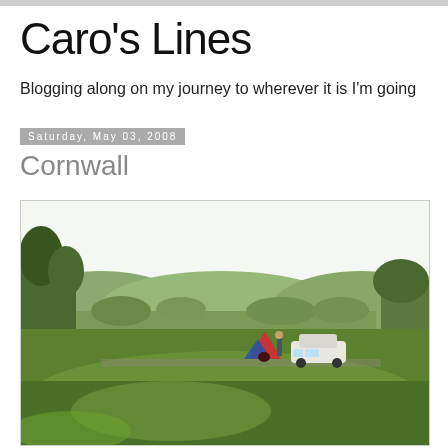Caro's Lines
Blogging along on my journey to wherever it is I'm going
Saturday, May 03, 2008
Cornwall
[Figure (photo): Outdoor campsite scene showing a large green grass field in the foreground, a white car and a red and blue tent pitched in the middle distance, surrounded by trees and rolling hills in the background under a bright overcast sky.]